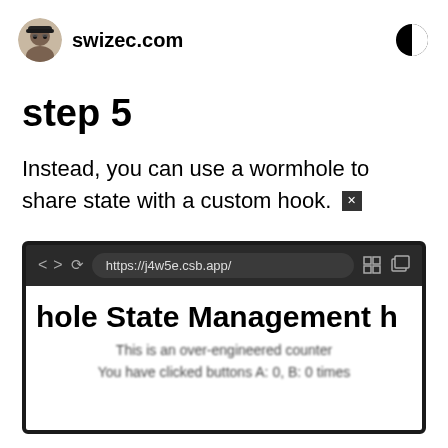swizec.com
step 5
Instead, you can use a wormhole to share state with a custom hook.
[Figure (screenshot): Browser screenshot showing a webpage at https://j4w5e.csb.app/ with a partially visible title 'hole State Management h', subtitle 'This is an over-engineered counter', and text 'You have clicked buttons A: 0, B: 0 times']